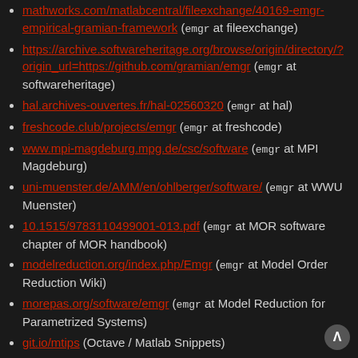mathworks.com/matlabcentral/fileexchange/40169-emgr-empirical-gramian-framework (emgr at fileexchange)
https://archive.softwareheritage.org/browse/origin/directory/?origin_url=https://github.com/gramian/emgr (emgr at softwareheritage)
hal.archives-ouvertes.fr/hal-02560320 (emgr at hal)
freshcode.club/projects/emgr (emgr at freshcode)
www.mpi-magdeburg.mpg.de/csc/software (emgr at MPI Magdeburg)
uni-muenster.de/AMM/en/ohlberger/software/ (emgr at WWU Muenster)
10.1515/9783110499001-013.pdf (emgr at MOR software chapter of MOR handbook)
modelreduction.org/index.php/Emgr (emgr at Model Order Reduction Wiki)
morepas.org/software/emgr (emgr at Model Reduction for Parametrized Systems)
git.io/mtips (Octave / Matlab Snippets)